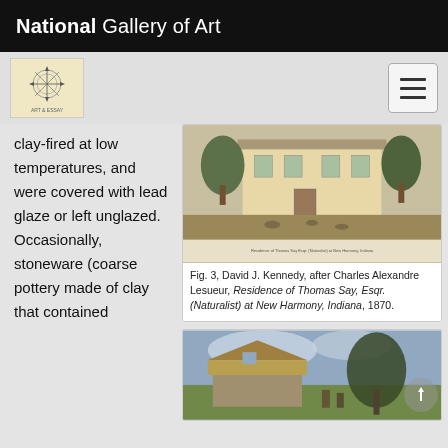National Gallery of Art
[Figure (logo): Navigation bar with NGA decorative logo icon and hamburger menu button]
clay-fired at low temperatures, and were covered with lead glaze or left unglazed. Occasionally, stoneware (coarse pottery made of clay that contained
[Figure (illustration): Fig. 3, David J. Kennedy, after Charles Alexandre Lesueur, Residence of Thomas Say, Esqr. (Naturalist) at New Harmony, Indiana, 1870. A detailed engraving showing a house with trees and figures in the foreground.]
Fig. 3, David J. Kennedy, after Charles Alexandre Lesueur, Residence of Thomas Say, Esqr. (Naturalist) at New Harmony, Indiana, 1870.
[Figure (illustration): A painting showing a rural scene with a thatched-roof building, figures, and trees against a sky with clouds.]